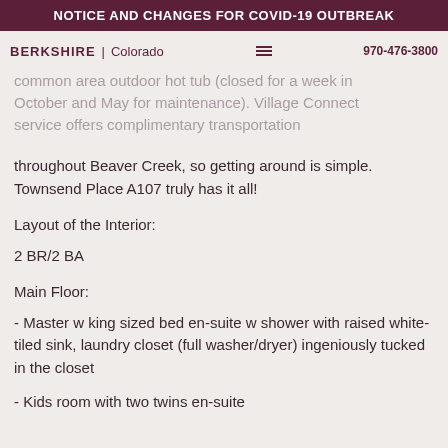NOTICE AND CHANGES FOR COVID-19 OUTBREAK
BERKSHIRE | Colorado   970-476-3800
common area outdoor hot tub (closed for a week in October and May for maintenance). Village Connect service offers complimentary transportation throughout Beaver Creek, so getting around is simple. Townsend Place A107 truly has it all!
Layout of the Interior:
2 BR/2 BA
Main Floor:
- Master w king sized bed en-suite w shower with raised white-tiled sink, laundry closet (full washer/dryer) ingeniously tucked in the closet
- Kids room with two twins en-suite